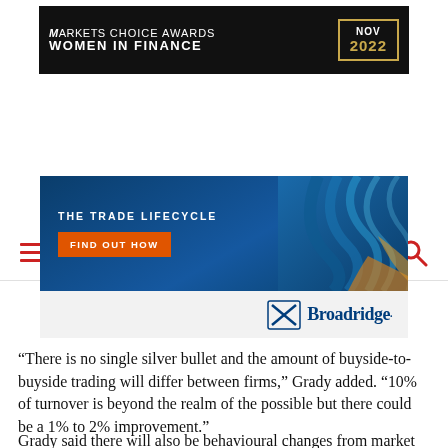[Figure (infographic): Markets Choice Awards Women in Finance NOV 2022 banner advertisement on black background with gold border around date]
[Figure (logo): MarketsMedia website navigation bar with red hamburger menu, Markets Media logo, and red search icon]
[Figure (infographic): Broadridge advertisement featuring The Trade Lifecycle with Find Out How orange button and Broadridge logo]
“There is no single silver bullet and the amount of buyside-to-buyside trading will differ between firms,” Grady added. “10% of turnover is beyond the realm of the possible but there could be a 1% to 2% improvement.”
Grady said there will also be behavioural changes from market participants as the size of bond trades come